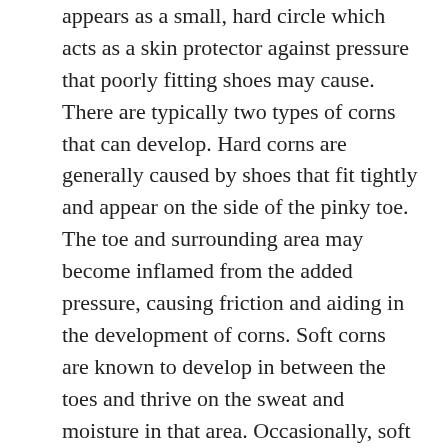appears as a small, hard circle which acts as a skin protector against pressure that poorly fitting shoes may cause. There are typically two types of corns that can develop. Hard corns are generally caused by shoes that fit tightly and appear on the side of the pinky toe. The toe and surrounding area may become inflamed from the added pressure, causing friction and aiding in the development of corns. Soft corns are known to develop in between the toes and thrive on the sweat and moisture in that area. Occasionally, soft corns may develop as a result of a predisposed inherited bone malformation, causing the skin on two toes to rub together, generating friction. Research has shown that wearing wider shoes while performing daily activities may prevent the formation of corns. If you are afflicted by this condition, please consider a consultation with a podiatrist for proper treatment options.
Corns can make walking very painful and should be treated immediately. If you have questions